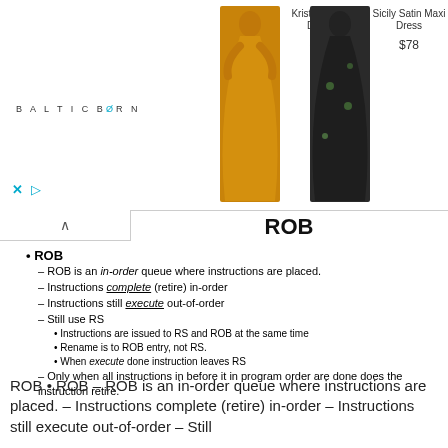[Figure (screenshot): Advertisement banner for BalticBorn showing two dresses: Kristina Maxi Dress ($85 crossed out) and Sicily Satin Maxi Dress ($78), with logo and playback controls.]
ROB
ROB
ROB is an in-order queue where instructions are placed.
Instructions complete (retire) in-order
Instructions still execute out-of-order
Still use RS
Instructions are issued to RS and ROB at the same time
Rename is to ROB entry, not RS.
When execute done instruction leaves RS
Only when all instructions in before it in program order are done does the instruction retire.
ROB • ROB – ROB is an in-order queue where instructions are placed. – Instructions complete (retire) in-order – Instructions still execute out-of-order – Still